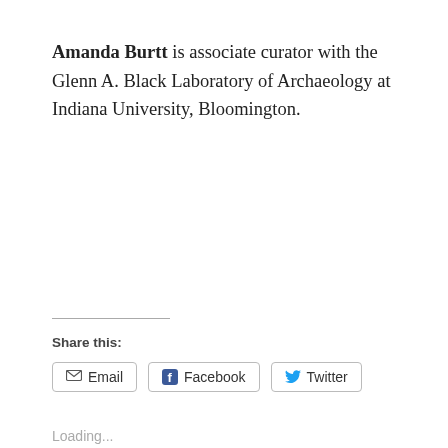Amanda Burtt is associate curator with the Glenn A. Black Laboratory of Archaeology at Indiana University, Bloomington.
Share this:
Email
Facebook
Twitter
Loading...
RELATED
[Figure (photo): Cave painting or rock art showing animals, in reddish-brown tones]
ARCHAEOLOGY SALE